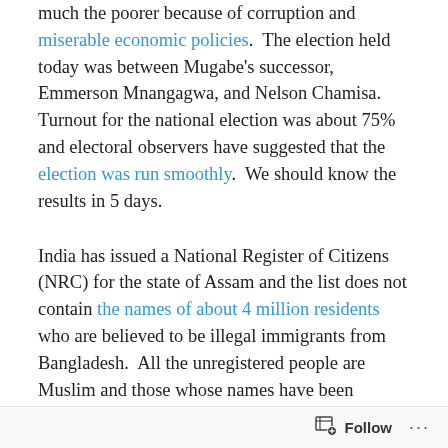much the poorer because of corruption and miserable economic policies.  The election held today was between Mugabe's successor, Emmerson Mnangagwa, and Nelson Chamisa.  Turnout for the national election was about 75% and electoral observers have suggested that the election was run smoothly.  We should know the results in 5 days.
India has issued a National Register of Citizens (NRC) for the state of Assam and the list does not contain the names of about 4 million residents who are believed to be illegal immigrants from Bangladesh.  All the unregistered people are Muslim and those whose names have been omitted do not know what the next steps may be.  Human rights activist Suhas Chakma described the situation:
Follow ···